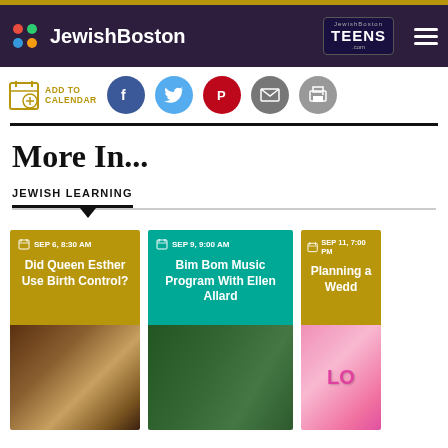JewishBoston / JewishBoston TEENS.com
[Figure (screenshot): Toolbar with Add to Calendar button and social sharing icons: Facebook, Twitter, Pinterest, Email, Print]
More In...
JEWISH LEARNING
[Figure (screenshot): Three event cards: (1) SEP 6, 8:30 AM - Did Queen Esther Use Birth Control? (gold background), (2) SEP 9, 9:00 AM - Bim Bom Music Program With Ellen Allard (teal background), (3) SEP 11, 7:00 PM - Planning a Wedd... (gold background, partially visible)]